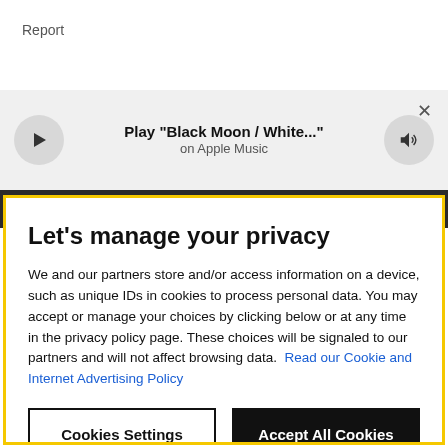Report
[Figure (screenshot): Apple Music player bar showing play button, 'Play "Black Moon / White..." on Apple Music' text, volume button, and a close (×) button]
[Figure (screenshot): Dark navigation bar strip with partial text visible]
Let's manage your privacy
We and our partners store and/or access information on a device, such as unique IDs in cookies to process personal data. You may accept or manage your choices by clicking below or at any time in the privacy policy page. These choices will be signaled to our partners and will not affect browsing data. Read our Cookie and Internet Advertising Policy
Cookies Settings
Accept All Cookies